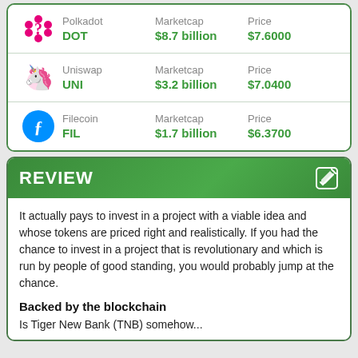| Coin | Name | Marketcap | Price |
| --- | --- | --- | --- |
| DOT | Polkadot | $8.7 billion | $7.6000 |
| UNI | Uniswap | $3.2 billion | $7.0400 |
| FIL | Filecoin | $1.7 billion | $6.3700 |
REVIEW
It actually pays to invest in a project with a viable idea and whose tokens are priced right and realistically. If you had the chance to invest in a project that is revolutionary and which is run by people of good standing, you would probably jump at the chance.
Backed by the blockchain
Is Tiger New Bank (TNB) somehow...